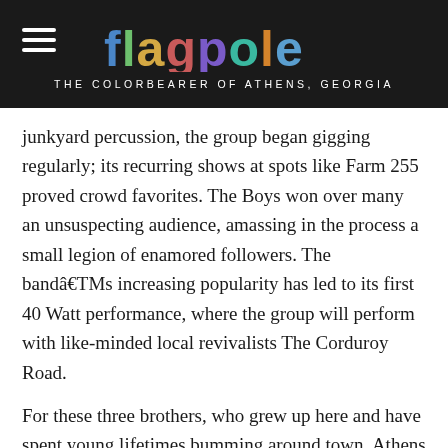flagpole — THE COLORBEARER OF ATHENS, GEORGIA
junkyard percussion, the group began gigging regularly; its recurring shows at spots like Farm 255 proved crowd favorites. The Boys won over many an unsuspecting audience, amassing in the process a small legion of enamored followers. The bandâ€TMs increasing popularity has led to its first 40 Watt performance, where the group will perform with like-minded local revivalists The Corduroy Road.
For these three brothers, who grew up here and have spent young lifetimes bumming around town, Athens is the glue that holds The Darnell Boys together. â€œ[Our] family moved here when I was three,â€ Darnell says,